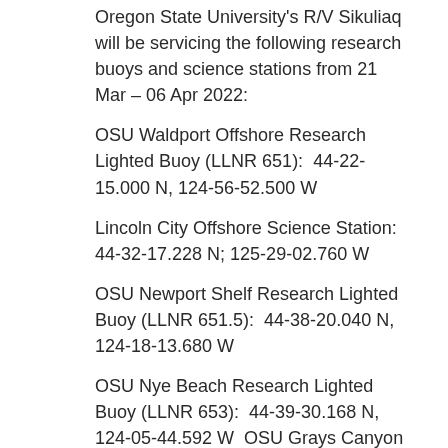Oregon State University's R/V Sikuliaq will be servicing the following research buoys and science stations from 21 Mar – 06 Apr 2022:
OSU Waldport Offshore Research Lighted Buoy (LLNR 651):  44-22-15.000 N, 124-56-52.500 W
Lincoln City Offshore Science Station:  44-32-17.228 N; 125-29-02.760 W
OSU Newport Shelf Research Lighted Buoy (LLNR 651.5):  44-38-20.040 N, 124-18-13.680 W
OSU Nye Beach Research Lighted Buoy (LLNR 653):  44-39-30.168 N, 124-05-44.592 W  OSU Grays Canyon Research Lighted Buoy (LLNR 727):  46-51-06.001 N, 124-58-00.012 W